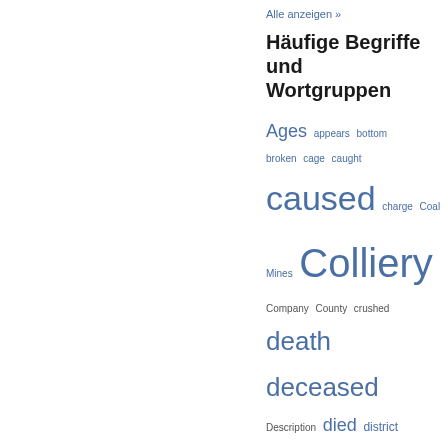Alle anzeigen »
Häufige Begriffe und Wortgruppen
Ages appears bottom broken cage caught caused charge Coal Mines Colliery Company County crushed death deceased Description died district Durham dust electric empty engine examination explosion face